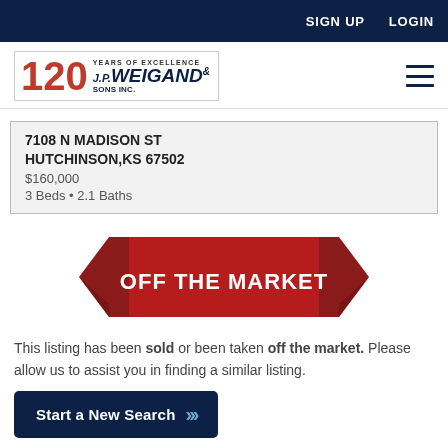SIGN UP  LOGIN
[Figure (logo): J.P. Weigand & Sons 120 Years of Excellence logo]
7108 N MADISON ST
HUTCHINSON,KS 67502
$160,000
3 Beds • 2.1 Baths
[Figure (infographic): Red ribbon banner with text OFF THE MARKET]
This listing has been sold or been taken off the market. Please allow us to assist you in finding a similar listing.
Start a New Search